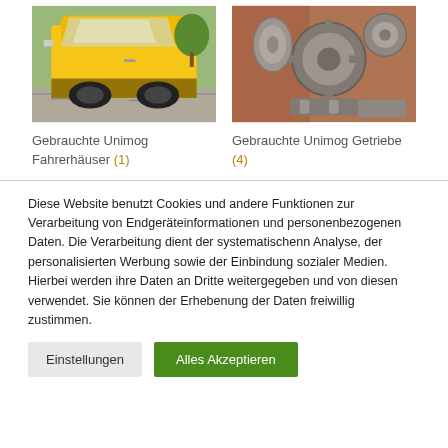[Figure (photo): Photo of a yellow Unimog cab/driver cabin outdoors on gravel/cobblestone]
[Figure (photo): Photo of a used Unimog gearbox/transmission internal mechanical parts in reddish-brown casing]
Gebrauchte Unimog Fahrerhäuser (1)
Gebrauchte Unimog Getriebe (4)
Diese Website benutzt Cookies und andere Funktionen zur Verarbeitung von Endgeräteinformationen und personenbezogenen Daten. Die Verarbeitung dient der systematischenn Analyse, der personalisierten Werbung sowie der Einbindung sozialer Medien. Hierbei werden ihre Daten an Dritte weitergegeben und von diesen verwendet. Sie können der Erhebenung der Daten freiwillig zustimmen.
Einstellungen
Alles Akzeptieren